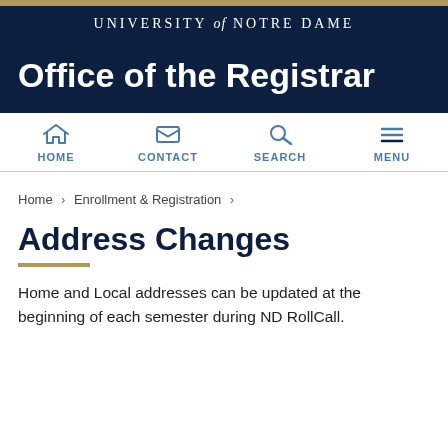UNIVERSITY of NOTRE DAME
Office of the Registrar
[Figure (other): Navigation bar with icons for HOME, CONTACT, SEARCH, MENU]
Home › Enrollment & Registration ›
Address Changes
Home and Local addresses can be updated at the beginning of each semester during ND RollCall.